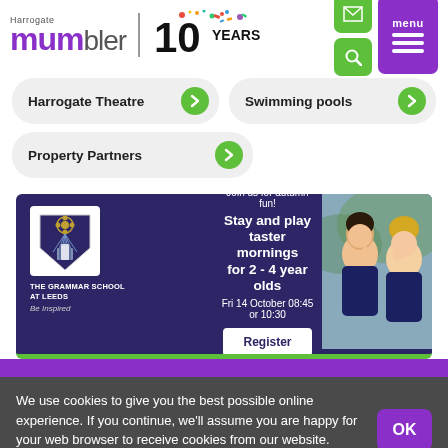[Figure (logo): Harrogate Mumbler logo with '10 Years' celebration text and confetti decoration]
Harrogate Theatre →
Swimming pools →
Property Partners →
[Figure (infographic): Advertisement for The Grammar School at Leeds - Join us for autumn fun! Stay and play taster mornings for 2 - 4 year olds. Fri 14 October 08:45 or 10:30. Register button. School crest shown. Photo of two young boys.]
We use cookies to give you the best possible online experience. If you continue, we'll assume you are happy for your web browser to receive cookies from our website. Cookie Policy